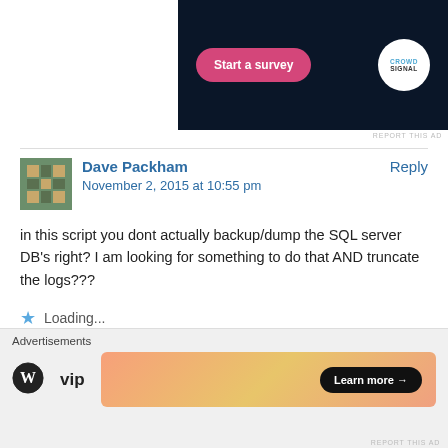[Figure (screenshot): Dark navy ad banner with 'Start a survey' pink button and CrowdSignal circular logo]
REPORT THIS AD
Dave Packham
November 2, 2015 at 10:55 pm
Reply
in this script you dont actually backup/dump the SQL server DB's right? I am looking for something to do that AND truncate the logs???
Loading...
Mark Vale
Reply
Advertisements
[Figure (logo): WordPress VIP logo]
[Figure (screenshot): Gradient ad banner with Learn more button]